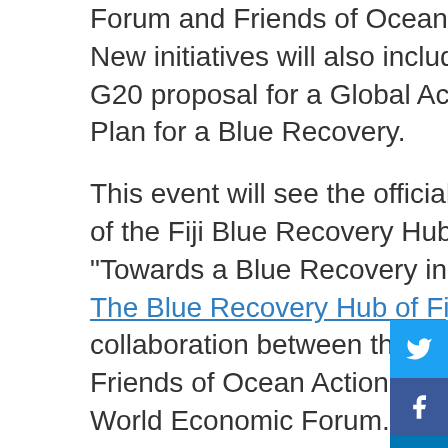Forum and Friends of Ocean Action. New initiatives will also include the G20 proposal for a Global Action Plan for a Blue Recovery.
This event will see the official launch of the Fiji Blue Recovery Hub report: "Towards a Blue Recovery in Fiji". The Blue Recovery Hub of Fiji is a collaboration between the OECD, Friends of Ocean Action, and the World Economic Forum.
Programme outline: